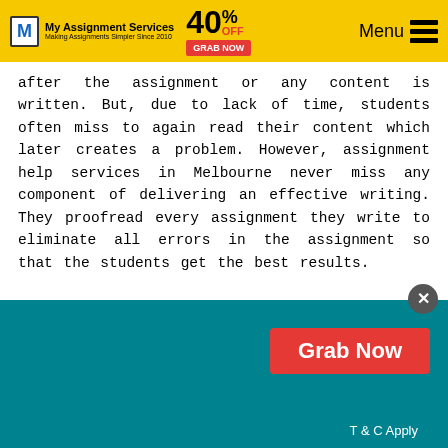My Assignment Services — Making Assignments Simpler Since 2010 | 40% OFF — GRAB NOW | Menu
after the assignment or any content is written. But, due to lack of time, students often miss to again read their content which later creates a problem. However, assignment help services in Melbourne never miss any component of delivering an effective writing. They proofread every assignment they write to eliminate all errors in the assignment so that the students get the best results.
Expert Guidance:
[Figure (screenshot): Teal popup banner with a red Grab Now button and T & C Apply text, and a close (X) button]